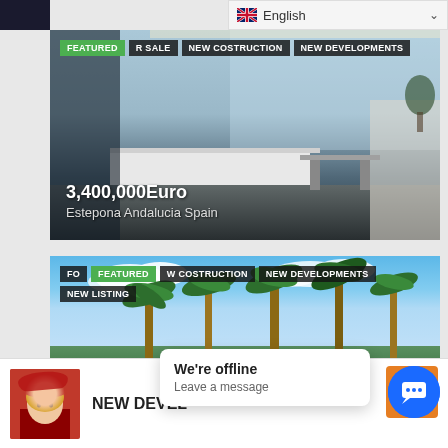[Figure (screenshot): Language selector showing English with UK flag and dropdown chevron]
[Figure (photo): Luxury modern interior (kitchen/living room) property listing. Tags: FEATURED, R SALE, NEW COSTRUCTION, NEW DEVELOPMENTS. Price: 3,400,000Euro. Location: Estepona Andalucia Spain]
[Figure (photo): Luxury villa with palm trees exterior. Tags: FOR FEATURED, W COSTRUCTION, NEW DEVELOPMENTS, NEW LISTING]
[Figure (screenshot): Bottom bar with woman avatar, NEW DEVEL text, We're offline chat popup and chat/orange icons]
We're offline
Leave a message
NEW DEVEL